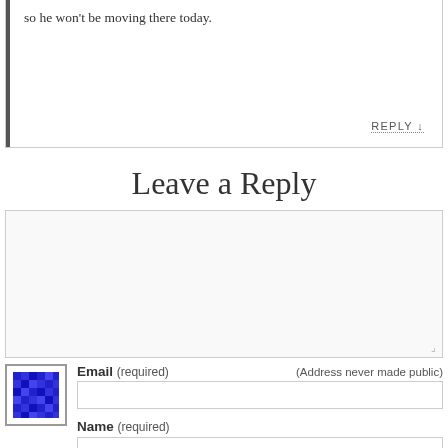so he won't be moving there today.
REPLY ↓
Leave a Reply
[Figure (other): Large empty textarea comment input box with resize handle in bottom-right corner]
[Figure (other): Blue pixelated avatar/gravatar placeholder image]
Email (required) (Address never made public)
[Figure (other): Email input text field]
Name (required)
[Figure (other): Name input text field]